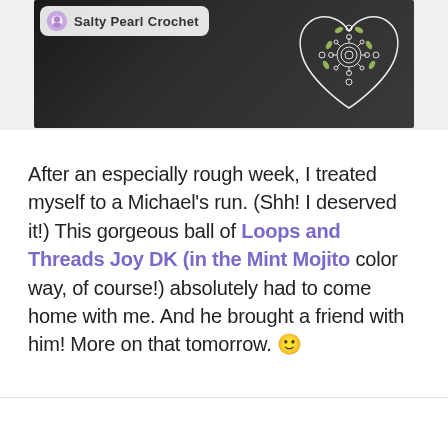[Figure (photo): Social media post from Salty Pearl Crochet showing a dark black garment with a white crochet lace heart motif. The brand logo and name 'Salty Pearl Crochet' are visible in the top-left corner of the photo on a white badge.]
After an especially rough week, I treated myself to a Michael's run. (Shh! I deserved it!) This gorgeous ball of Loops and Threads Joy DK (in the Mint Mojito color way, of course!) absolutely had to come home with me. And he brought a friend with him! More on that tomorrow. 🙂